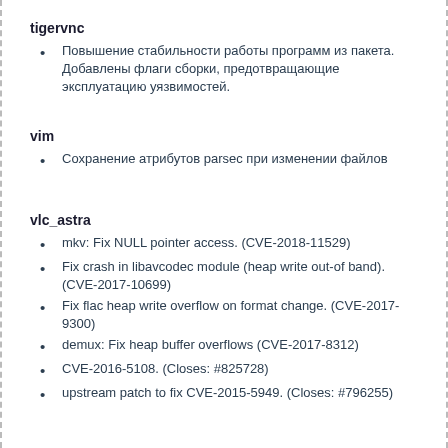tigervnc
Повышение стабильности работы программ из пакета. Добавлены флаги сборки, предотвращающие эксплуатацию уязвимостей.
vim
Сохранение атрибутов parsec при изменении файлов
vlc_astra
mkv: Fix NULL pointer access. (CVE-2018-11529)
Fix crash in libavcodec module (heap write out-of band). (CVE-2017-10699)
Fix flac heap write overflow on format change. (CVE-2017-9300)
demux: Fix heap buffer overflows (CVE-2017-8312)
CVE-2016-5108. (Closes: #825728)
upstream patch to fix CVE-2015-5949. (Closes: #796255)